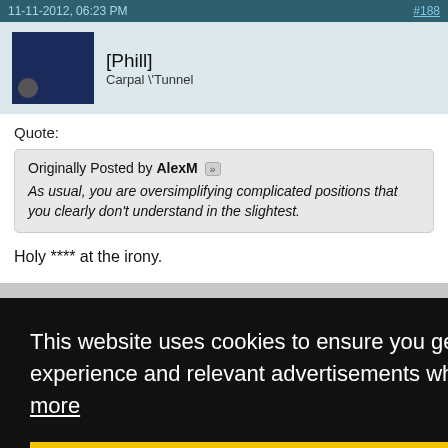11-11-2012, 06:23 PM   #188
[Phill]
Carpal \'Tunnel
Quote:
Originally Posted by AlexM
As usual, you are oversimplifying complicated positions that you clearly don't understand in the slightest.
Holy **** at the irony.
This website uses cookies to ensure you get the best experience and relevant advertisements while visiting. Learn more
Got it!
#189
rse than a society where they'd pretty much just be killed.